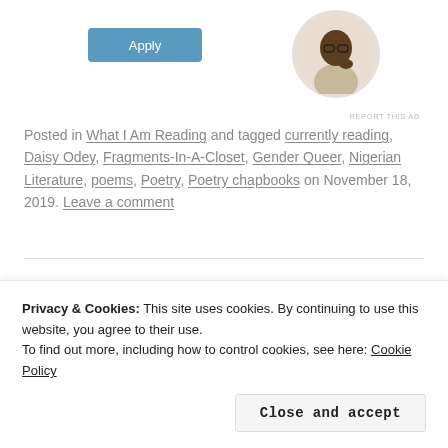[Figure (illustration): Blue Apply button in upper left area]
[Figure (photo): Circular avatar photo of a man sitting and thinking, wearing a beige shirt]
REPORT THIS AD
Posted in What I Am Reading and tagged currently reading, Daisy Odey, Fragments-In-A-Closet, Gender Queer, Nigerian Literature, poems, Poetry, Poetry chapbooks on November 18, 2019. Leave a comment
[Figure (other): Horizontal divider line]
PEPPERSOUP AND POETRY
[Figure (other): X close button circle]
Privacy & Cookies: This site uses cookies. By continuing to use this website, you agree to their use.
To find out more, including how to control cookies, see here: Cookie Policy
Close and accept